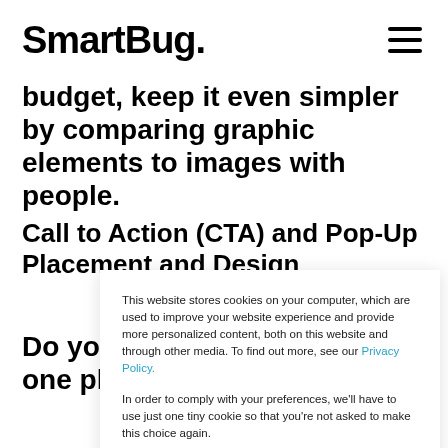SmartBug.
budget, keep it even simpler by comparing graphic elements to images with people.
Call to Action (CTA) and Pop-Up Placement and Design
Do you always place CTAs in one place or
This website stores cookies on your computer, which are used to improve your website experience and provide more personalized content, both on this website and through other media. To find out more, see our Privacy Policy.

In order to comply with your preferences, we'll have to use just one tiny cookie so that you're not asked to make this choice again.
Accept
No Thanks